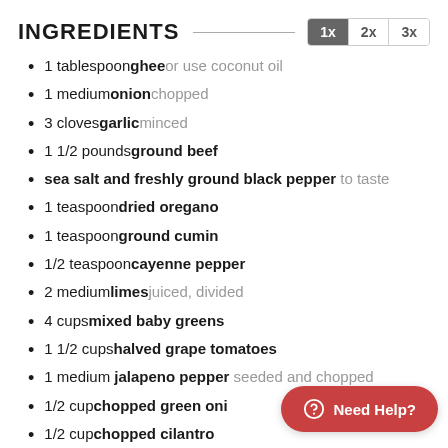INGREDIENTS
1 tablespoon ghee or use coconut oil
1 medium onion chopped
3 cloves garlic minced
1 1/2 pounds ground beef
sea salt and freshly ground black pepper to taste
1 teaspoon dried oregano
1 teaspoon ground cumin
1/2 teaspoon cayenne pepper
2 medium limes juiced, divided
4 cups mixed baby greens
1 1/2 cups halved grape tomatoes
1 medium jalapeno pepper seeded and chopped
1/2 cup chopped green onions
1/2 cup chopped cilantro